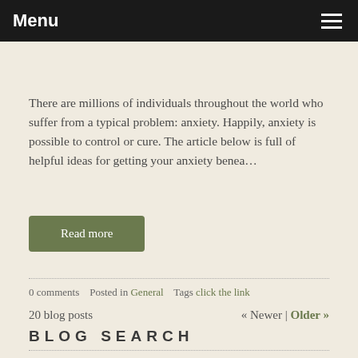Menu
There are millions of individuals throughout the world who suffer from a typical problem: anxiety. Happily, anxiety is possible to control or cure. The article below is full of helpful ideas for getting your anxiety benea…
Read more
0 comments   Posted in General   Tags click the link
20 blog posts   « Newer | Older »
BLOG SEARCH